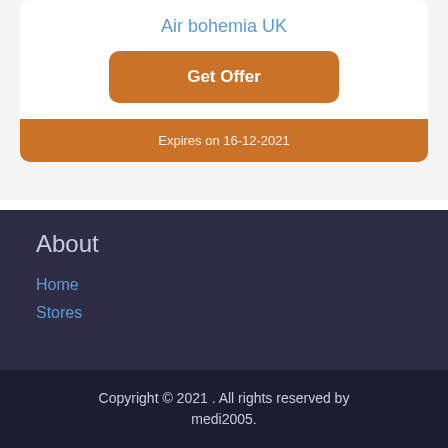Air bohemia UK
Get Offer
Expires on 16-12-2021
About
Home
Stores
Copyright © 2021 . All rights reserved by medi2005.